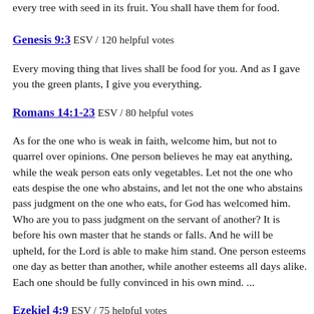every tree with seed in its fruit. You shall have them for food.
Genesis 9:3 ESV / 120 helpful votes
Every moving thing that lives shall be food for you. And as I gave you the green plants, I give you everything.
Romans 14:1-23 ESV / 80 helpful votes
As for the one who is weak in faith, welcome him, but not to quarrel over opinions. One person believes he may eat anything, while the weak person eats only vegetables. Let not the one who eats despise the one who abstains, and let not the one who abstains pass judgment on the one who eats, for God has welcomed him. Who are you to pass judgment on the servant of another? It is before his own master that he stands or falls. And he will be upheld, for the Lord is able to make him stand. One person esteems one day as better than another, while another esteems all days alike. Each one should be fully convinced in his own mind. ...
Ezekiel 4:9 ESV / 75 helpful votes